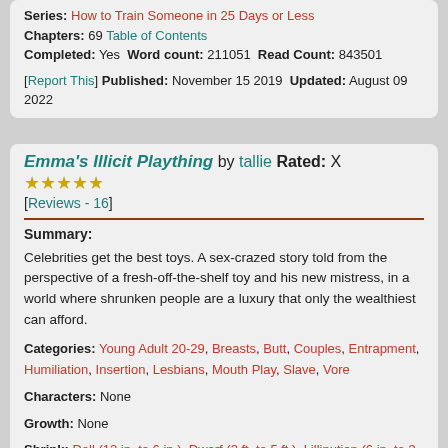Series: How to Train Someone in 25 Days or Less
Chapters: 69 Table of Contents
Completed: Yes Word count: 211051 Read Count: 843501
[Report This] Published: November 15 2019 Updated: August 09 2022
Emma's Illicit Plaything by tallie Rated: X [Reviews - 16]
Summary:
Celebrities get the best toys. A sex-crazed story told from the perspective of a fresh-off-the-shelf toy and his new mistress, in a world where shrunken people are a luxury that only the wealthiest can afford.
Categories: Young Adult 20-29, Breasts, Butt, Couples, Entrapment, Humiliation, Insertion, Lesbians, Mouth Play, Slave, Vore
Characters: None
Growth: None
Shrink: Doll (12 in. to 6 in.), Dwarf (3 ft. to 5 ft.), Lilliputian (6 in. to 3 in.), Micro (1 in. to 1/2 in.), Minikin (3 in. to 1 in.), Munchkin (2.9 ft. to 1 ft.), Nano (1/2 in. to 2.5 nanometers)
Size Roles: F/f, F/m, FF/m, FM/f, FM/m